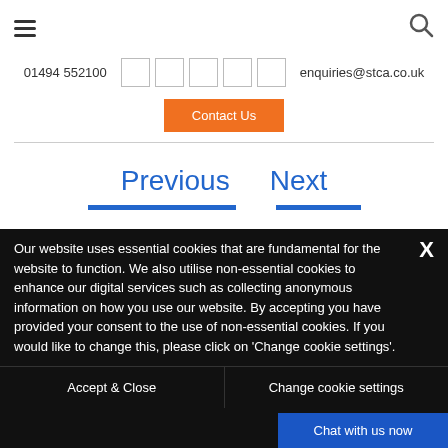☰  [menu icon] ... [search icon]
01494 552100   [social icons]   enquiries@stca.co.uk
Contact Us
Previous   Next
Our website uses essential cookies that are fundamental for the website to function. We also utilise non-essential cookies to enhance our digital services such as collecting anonymous information on how you use our website. By accepting you have provided your consent to the use of non-essential cookies. If you would like to change this, please click on 'Change cookie settings'.
Accept & Close   Change cookie settings
Chat with us now